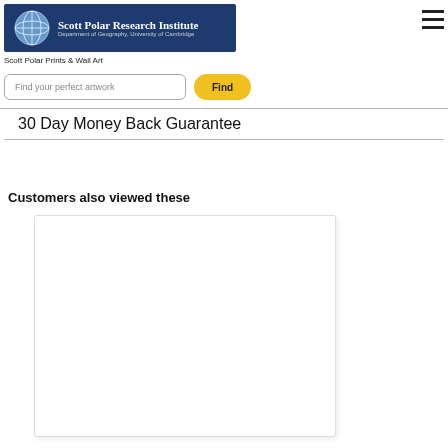[Figure (logo): Scott Polar Research Institute logo with globe icon and text on dark navy background]
Scott Polar Prints & Wall Art
Find your perfect artwork
30 Day Money Back Guarantee
Customers also viewed these
[Figure (photo): White/blank product image card for a related artwork]